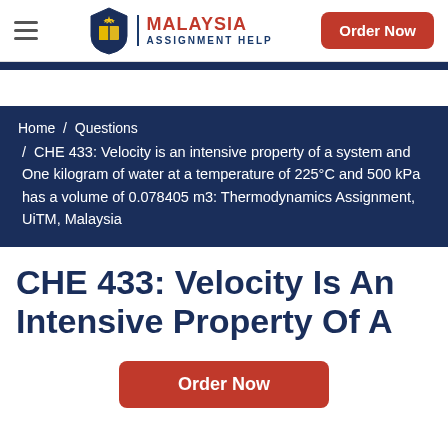Malaysia Assignment Help — Order Now
Home / Questions / CHE 433: Velocity is an intensive property of a system and One kilogram of water at a temperature of 225°C and 500 kPa has a volume of 0.078405 m3: Thermodynamics Assignment, UiTM, Malaysia
CHE 433: Velocity Is An Intensive Property Of A
Order Now